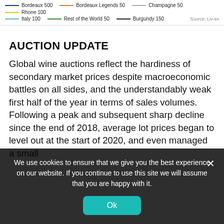[Figure (other): Chart legend bar showing colored lines for: Bordeaux 500 (dark blue), Bordeaux Legends 50 (orange), Champagne 50 (gray), Rhone 100 (yellow), Italy 100 (light blue), Rest of the World 50 (green), Burgundy 150 (dark/black). Source: Liv-ex.]
AUCTION UPDATE
Global wine auctions reflect the hardiness of secondary market prices despite macroeconomic battles on all sides, and the understandably weak first half of the year in terms of sales volumes. Following a peak and subsequent sharp decline since the end of 2018, average lot prices began to level out at the start of 2020, and even managed a small
We use cookies to ensure that we give you the best experience on our website. If you continue to use this site we will assume that you are happy with it.